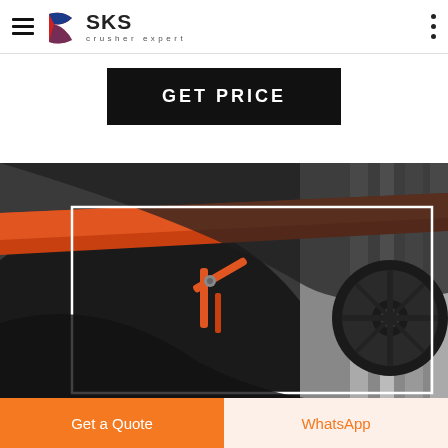SKS crusher expert
GET PRICE
[Figure (photo): Close-up photo of industrial crusher machinery showing orange/red belt or guard, black metal housing, and a black pulley wheel on the right side, with a white rectangle overlay outline]
Get a Quote
WhatsApp